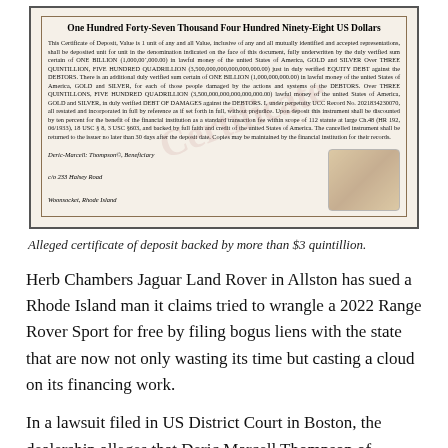[Figure (other): Alleged certificate of deposit document showing title 'One Hundred Forty-Seven Thousand Four Hundred Ninety-Eight US Dollars', body text about Certificate of Deposit value, UCC Record references, signatures for Deric-Marcell: Thompson©, Beneficiary, c/o 233 Halsey Road, Woonsocket, Rhode Island, with a decorative stamp/fingerprint image at bottom right.]
Alleged certificate of deposit backed by more than $3 quintillion.
Herb Chambers Jaguar Land Rover in Allston has sued a Rhode Island man it claims tried to wrangle a 2022 Range Rover Sport for free by filing bogus liens with the state that are now not only wasting its time but casting a cloud on its financing work.
In a lawsuit filed in US District Court in Boston, the dealership alleges that Deric Marcell Thompson of